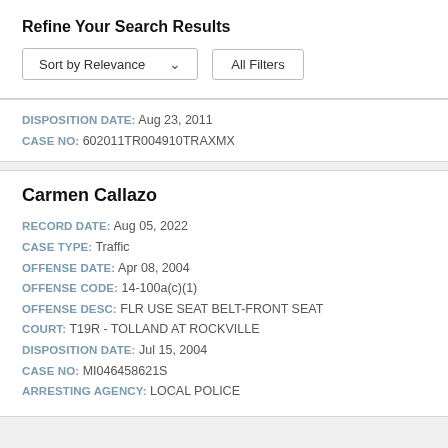Refine Your Search Results
Sort by Relevance   All Filters
DISPOSITION DATE: Aug 23, 2011
CASE NO: 602011TR004910TRAXMX
Carmen Callazo
RECORD DATE: Aug 05, 2022
CASE TYPE: Traffic
OFFENSE DATE: Apr 08, 2004
OFFENSE CODE: 14-100a(c)(1)
OFFENSE DESC: FLR USE SEAT BELT-FRONT SEAT
COURT: T19R - TOLLAND AT ROCKVILLE
DISPOSITION DATE: Jul 15, 2004
CASE NO: MI046458621S
ARRESTING AGENCY: LOCAL POLICE